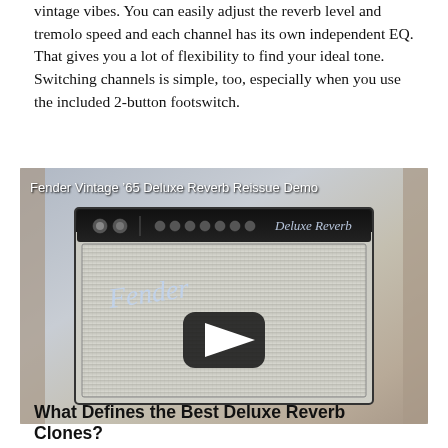vintage vibes. You can easily adjust the reverb level and tremolo speed and each channel has its own independent EQ. That gives you a lot of flexibility to find your ideal tone. Switching channels is simple, too, especially when you use the included 2-button footswitch.
[Figure (other): Embedded YouTube video thumbnail showing a Fender Vintage '65 Deluxe Reverb Reissue guitar amplifier with a play button overlay. Title overlay reads 'Fender Vintage '65 Deluxe Reverb Reissue Demo'.]
What Defines the Best Deluxe Reverb Clones?